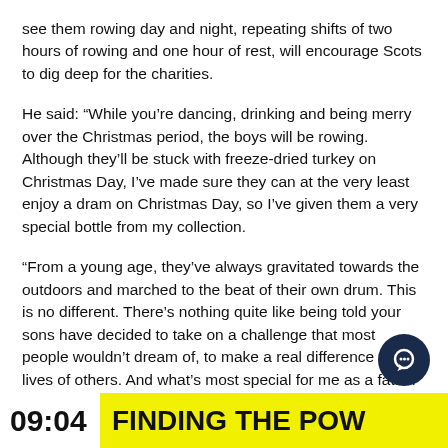see them rowing day and night, repeating shifts of two hours of rowing and one hour of rest, will encourage Scots to dig deep for the charities.
He said: “While you’re dancing, drinking and being merry over the Christmas period, the boys will be rowing. Although they’ll be stuck with freeze-dried turkey on Christmas Day, I’ve made sure they can at the very least enjoy a dram on Christmas Day, so I’ve given them a very special bottle from my collection.
“From a young age, they’ve always gravitated towards the outdoors and marched to the beat of their own drum. This is no different. There’s nothing quite like being told your sons have decided to take on a challenge that most people wouldn’t dream of, to make a real difference to the lives of others. And what’s most special for me as a father is that they’ve chosen to do it together.”
09:04   FINDING THE POW